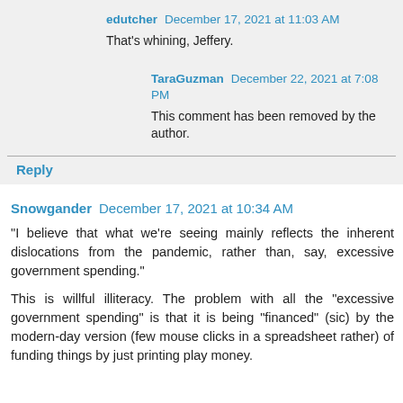edutcher  December 17, 2021 at 11:03 AM
That's whining, Jeffery.
TaraGuzman  December 22, 2021 at 7:08 PM
This comment has been removed by the author.
Reply
Snowgander  December 17, 2021 at 10:34 AM
"I believe that what we're seeing mainly reflects the inherent dislocations from the pandemic, rather than, say, excessive government spending."
This is willful illiteracy. The problem with all the "excessive government spending" is that it is being "financed" (sic) by the modern-day version (few mouse clicks in a spreadsheet rather) of funding things by just printing play money.